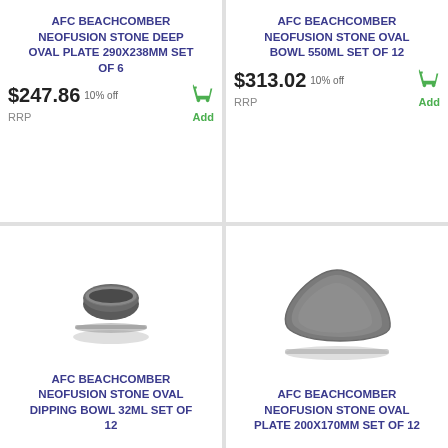[Figure (photo): Product card top-left: AFC Beachcomber Neofusion Stone Deep Oval Plate 290x238mm (no product image shown in top half)]
AFC BEACHCOMBER NEOFUSION STONE DEEP OVAL PLATE 290X238MM SET OF 6
$247.86 10% off
RRP Add
[Figure (photo): Product card top-right: AFC Beachcomber Neofusion Stone Oval Bowl 550ml (no product image shown in top half)]
AFC BEACHCOMBER NEOFUSION STONE OVAL BOWL 550ML SET OF 12
$313.02 10% off
RRP Add
[Figure (photo): Small dark ceramic oval dipping bowl, top view showing bowl and shadow below]
AFC BEACHCOMBER NEOFUSION STONE OVAL DIPPING BOWL 32ML SET OF 12
[Figure (photo): Dark grey ceramic triangular oval plate with shadow below, product photo]
AFC BEACHCOMBER NEOFUSION STONE OVAL PLATE 200X170MM SET OF 12